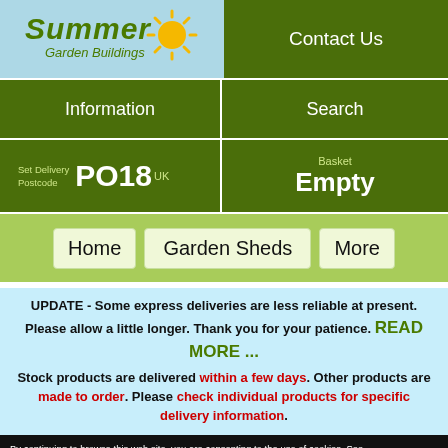[Figure (logo): Summer Garden Buildings logo with sun graphic in green and yellow on light blue background]
Contact Us
Information
Search
Set Delivery Postcode PO18 UK
Basket Empty
Home
Garden Sheds
More
UPDATE - Some express deliveries are less reliable at present. Please allow a little longer. Thank you for your patience. READ MORE ... Stock products are delivered within a few days. Other products are made to order. Please check individual products for specific delivery information.
By continuing to browse this web site, you are consenting to the use of cookies. See the Privacy/Cookies page for more information about how we use cookies on this web site.